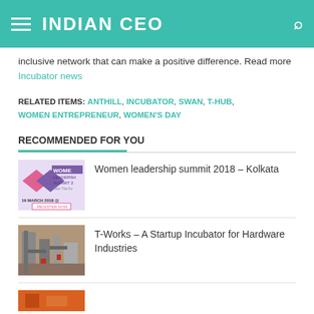INDIAN CEO
inclusive network that can make a positive difference. Read more Incubator news
RELATED ITEMS: ANTHILL, INCUBATOR, SWAN, T-HUB, WOMEN ENTREPRENEUR, WOMEN'S DAY
RECOMMENDED FOR YOU
[Figure (photo): Women Leadership Summit 2018 event poster]
Women leadership summit 2018 – Kolkata
[Figure (photo): Industrial machinery in a factory setting]
T-Works – A Startup Incubator for Hardware Industries
[Figure (photo): Orange-toned thumbnail image (partial, cropped)]